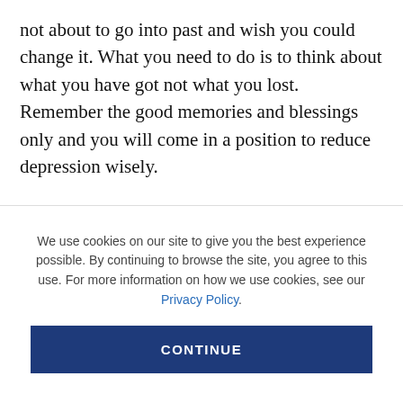not about to go into past and wish you could change it. What you need to do is to think about what you have got not what you lost. Remember the good memories and blessings only and you will come in a position to reduce depression wisely.
Ignore Instead of R...
We use cookies on our site to give you the best experience possible. By continuing to browse the site, you agree to this use. For more information on how we use cookies, see our Privacy Policy.